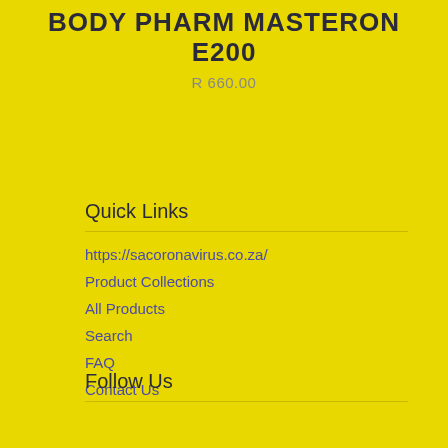BODY PHARM MASTERON E200
R 660.00
Quick Links
https://sacoronavirus.co.za/
Product Collections
All Products
Search
FAQ
Contact Us
Follow Us